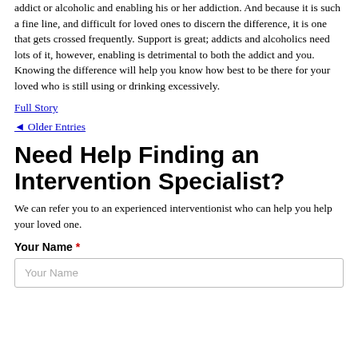addict or alcoholic and enabling his or her addiction. And because it is such a fine line, and difficult for loved ones to discern the difference, it is one that gets crossed frequently. Support is great; addicts and alcoholics need lots of it, however, enabling is detrimental to both the addict and you. Knowing the difference will help you know how best to be there for your loved who is still using or drinking excessively.
Full Story
◄ Older Entries
Need Help Finding an Intervention Specialist?
We can refer you to an experienced interventionist who can help you help your loved one.
Your Name *
Your Name